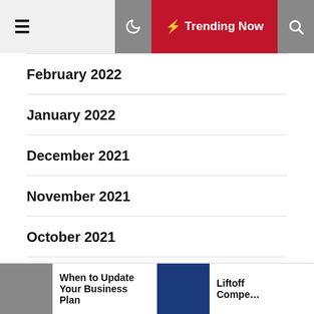≡ Trending Now 🔍
February 2022
January 2022
December 2021
November 2021
October 2021
September 2021
When to Update Your Business Plan
Liftoff Compe…